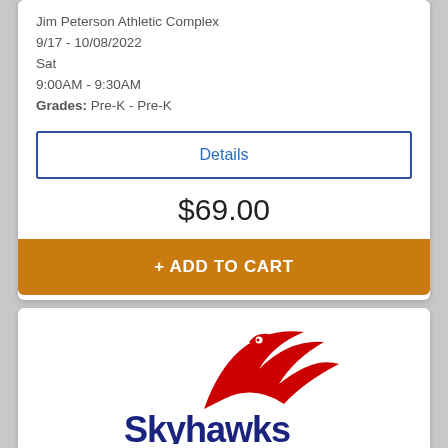Jim Peterson Athletic Complex
9/17 - 10/08/2022
Sat
9:00AM - 9:30AM
Grades: Pre-K - Pre-K
Details
$69.00
+ ADD TO CART
[Figure (logo): Skyhawks logo — red swoosh/bird graphic above bold navy blue text reading 'Skyhawks']